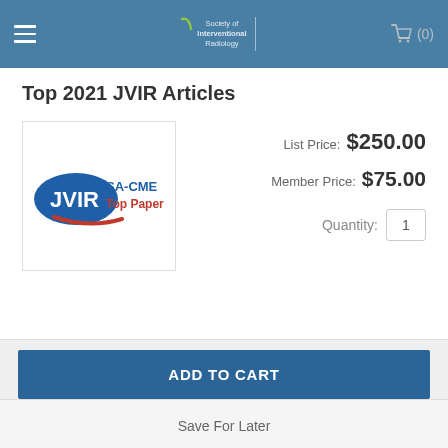Society of Interventional Radiology — cart (0)
Top 2021 JVIR Articles
[Figure (logo): JVIR SA-CME Top Papers logo — blue oval with JVIR text and red SA-CME Top Papers text]
List Price: $250.00
Member Price: $75.00
Quantity: 1
ADD TO CART
Save For Later